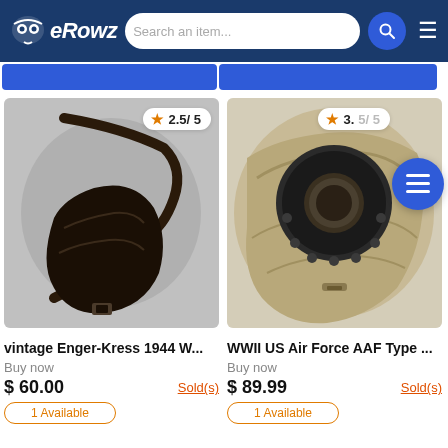[Figure (logo): eRowz logo with owl icon in white on dark blue header, accompanied by search bar and navigation icons]
[Figure (photo): Product photo of vintage Enger-Kress 1944 leather shoulder holster, black, with rating badge 2.5/5]
[Figure (photo): Product photo of WWII US Air Force AAF Type oxygen mask in tan/khaki fabric, with rating badge partially visible 3.x/5]
vintage Enger-Kress 1944 W...
WWII US Air Force AAF Type ...
Buy now
Buy now
$ 60.00
Sold(s)
$ 89.99
Sold(s)
1 Available
1 Available